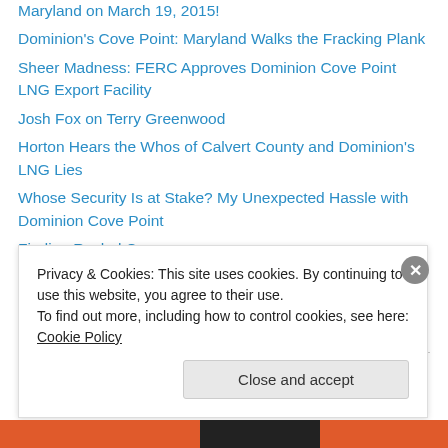Maryland on March 19, 2015!
Dominion's Cove Point: Maryland Walks the Fracking Plank
Sheer Madness: FERC Approves Dominion Cove Point LNG Export Facility
Josh Fox on Terry Greenwood
Horton Hears the Whos of Calvert County and Dominion's LNG Lies
Whose Security Is at Stake? My Unexpected Hassle with Dominion Cove Point
Finding Rachel Carson
Natural Gas is Not Clean (Even If Ads Say It Is)
Fukushima and the Role of Catastrophe in Human Evolution
Privacy & Cookies: This site uses cookies. By continuing to use this website, you agree to their use. To find out more, including how to control cookies, see here: Cookie Policy
Close and accept